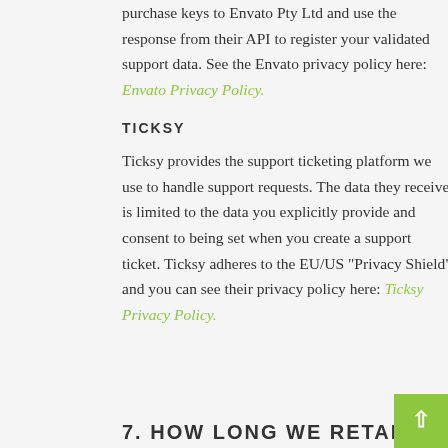purchase keys to Envato Pty Ltd and use the response from their API to register your validated support data. See the Envato privacy policy here: Envato Privacy Policy.
TICKSY
Ticksy provides the support ticketing platform we use to handle support requests. The data they receive is limited to the data you explicitly provide and consent to being set when you create a support ticket. Ticksy adheres to the EU/US “Privacy Shield” and you can see their privacy policy here: Ticksy Privacy Policy.
7. HOW LONG WE RETAIN